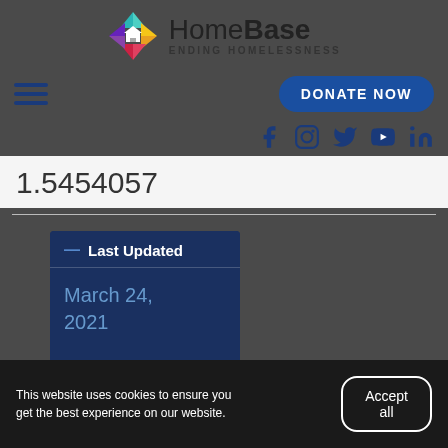[Figure (logo): HomeBase Ending Homelessness logo with colorful diamond/house icon]
[Figure (infographic): Navigation bar with hamburger menu and DONATE NOW button and social media icons (Facebook, Instagram, Twitter, YouTube, LinkedIn)]
1.5454057
| Last Updated |
| --- |
| March 24, 2021 |
This website uses cookies to ensure you get the best experience on our website.